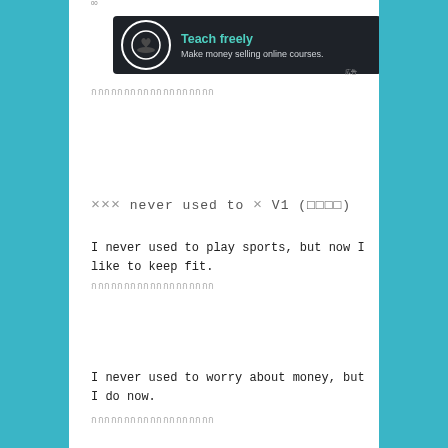00
[Figure (screenshot): Advertisement banner with dark background. Logo of a bonsai tree in a circle on the left. Text: 'Teach freely' in teal/green, 'Make money selling online courses.' in light gray.]
[Thai text - obscured characters]
××× never used to × V1 (□□□□)
I never used to play sports, but now I like to keep fit.
[Thai text - obscured characters]
I never used to worry about money, but I do now.
[Thai text - obscured characters]